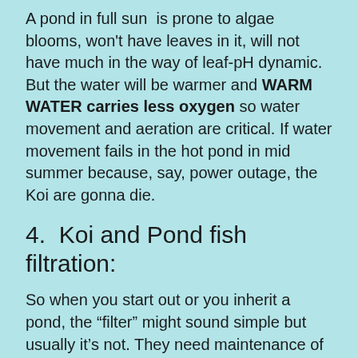A pond in full sun  is prone to algae blooms, won't have leaves in it, will not have much in the way of leaf-pH dynamic. But the water will be warmer and WARM WATER carries less oxygen so water movement and aeration are critical. If water movement fails in the hot pond in mid summer because, say, power outage, the Koi are gonna die.
4.  Koi and Pond fish filtration:
So when you start out or you inherit a pond, the “filter” might sound simple but usually it’s not. They need maintenance of some kind. And they may or may not be “big enough” and an assessment is needed. I use ecosystem ponds with plants and gravel and